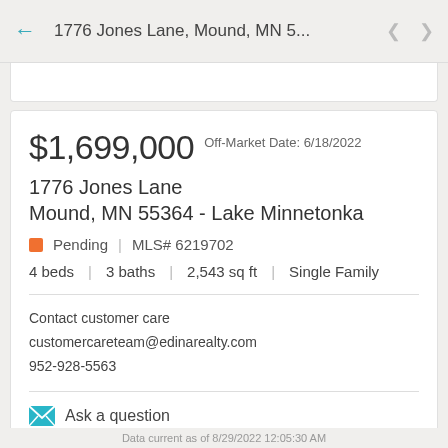1776 Jones Lane, Mound, MN 5...
$1,699,000 Off-Market Date: 6/18/2022
1776 Jones Lane
Mound, MN 55364 - Lake Minnetonka
Pending | MLS# 6219702
4 beds | 3 baths | 2,543 sq ft | Single Family
Contact customer care
customercareteam@edinarealty.com
952-928-5563
Ask a question
Data current as of 8/29/2022 12:05:30 AM